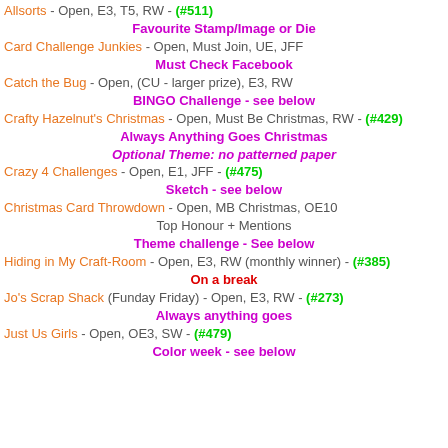Allsorts - Open, E3, T5, RW - (#511)
Favourite Stamp/Image or Die
Card Challenge Junkies - Open, Must Join, UE, JFF
Must Check Facebook
Catch the Bug - Open, (CU - larger prize), E3, RW
BINGO Challenge - see below
Crafty Hazelnut's Christmas - Open, Must Be Christmas, RW - (#429)
Always Anything Goes Christmas
Optional Theme: no patterned paper
Crazy 4 Challenges - Open, E1, JFF - (#475)
Sketch - see below
Christmas Card Throwdown - Open, MB Christmas, OE10
Top Honour + Mentions
Theme challenge - See below
Hiding in My Craft-Room - Open, E3, RW (monthly winner) - (#385)
On a break
Jo's Scrap Shack (Funday Friday) - Open, E3, RW - (#273)
Always anything goes
Just Us Girls - Open, OE3, SW - (#479)
Color week - see below